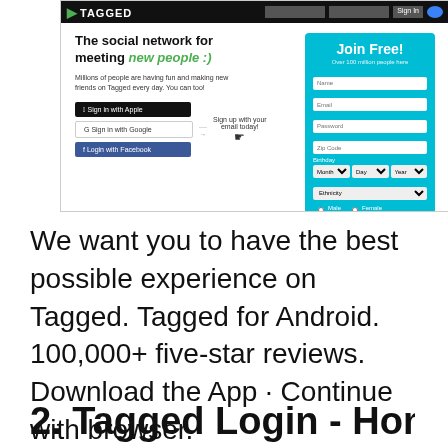[Figure (screenshot): Screenshot of the Tagged social network website homepage showing the tagline 'The social network for meeting new people :)', sign-in buttons (Apple, Google, Facebook), a Join Free registration form with fields for Name, Email, Password, Zip Code, Birthday, Ethnicity, Gender, and a Sign Up button, and a site footer with copyright and navigation links.]
We want you to have the best possible experience on Tagged. Tagged for Android. 100,000+ five-star reviews. Download the App · Continue with browser.
2. Tagged Login - Home |...